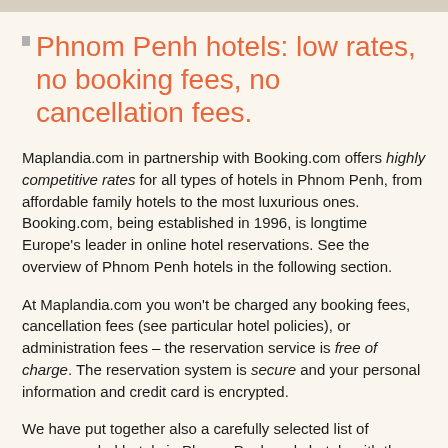Phnom Penh hotels: low rates, no booking fees, no cancellation fees.
Maplandia.com in partnership with Booking.com offers highly competitive rates for all types of hotels in Phnom Penh, from affordable family hotels to the most luxurious ones. Booking.com, being established in 1996, is longtime Europe's leader in online hotel reservations. See the overview of Phnom Penh hotels in the following section.
At Maplandia.com you won't be charged any booking fees, cancellation fees (see particular hotel policies), or administration fees – the reservation service is free of charge. The reservation system is secure and your personal information and credit card is encrypted.
We have put together also a carefully selected list of recommended hotels in Phnom Penh, only hotels with the highest level of guest satisfaction are included. Many